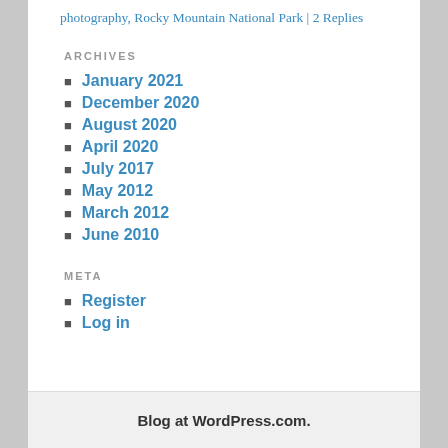photography, Rocky Mountain National Park | 2 Replies
ARCHIVES
January 2021
December 2020
August 2020
April 2020
July 2017
May 2012
March 2012
June 2010
META
Register
Log in
Blog at WordPress.com.